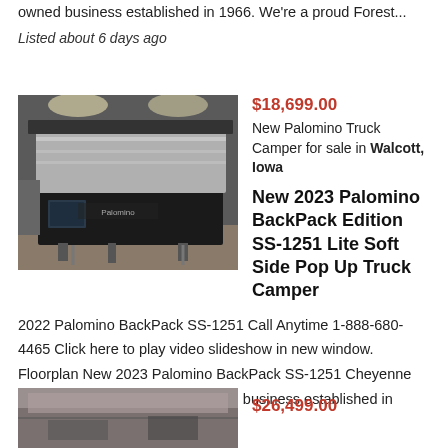owned business established in 1966. We're a proud Forest...
Listed about 6 days ago
[Figure (photo): Palomino truck camper displayed indoors on a concrete floor with pop-up top extended]
$18,699.00
New Palomino Truck Camper for sale in Walcott, Iowa
New 2023 Palomino BackPack Edition SS-1251 Lite Soft Side Pop Up Truck Camper
2022 Palomino BackPack SS-1251 Call Anytime 1-888-680-4465 Click here to play video slideshow in new window. Floorplan New 2023 Palomino BackPack SS-1251 Cheyenne Camping Center is a family owned business established in 1966. We're a proud Forest...
Listed about 8 days ago
[Figure (photo): Partial view of another RV or camper listing image at bottom of page]
$26,499.00